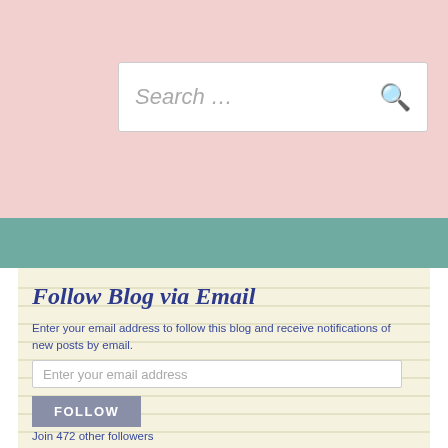[Figure (screenshot): Search bar with placeholder text 'Search ...' and a magnifying glass icon on a pink background]
Follow Blog via Email
Enter your email address to follow this blog and receive notifications of new posts by email.
[Figure (screenshot): Email input field with placeholder 'Enter your email address']
[Figure (screenshot): FOLLOW button in grey-blue color]
Join 472 other followers